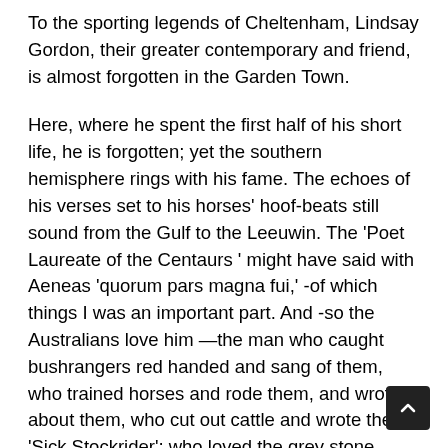To the sporting legends of Cheltenham, Lindsay Gordon, their greater contemporary and friend, is almost forgotten in the Garden Town.
Here, where he spent the first half of his short life, he is forgotten; yet the southern hemisphere rings with his fame. The echoes of his verses set to his horses' hoof-beats still sound from the Gulf to the Leeuwin. The 'Poet Laureate of the Centaurs ' might have said with Aeneas 'quorum pars magna fui,' -of which things I was an important part. And -so the Australians love him —the man who caught bushrangers red handed and sang of them, who trained horses and rode them, and wrote about them, who cut out cattle and wrote the 'Sick Stockrider'; who loved the grey stone Cotswold country and the melancholy bush; yet, who told Australia 'How We Beat the Favorite,' and sang her the 'Lay of the Loamshire Cup,', and the young Australia bent her independent head and listened to the gentleman rider's tales, and she gave him a crown of death-less eucalyptus